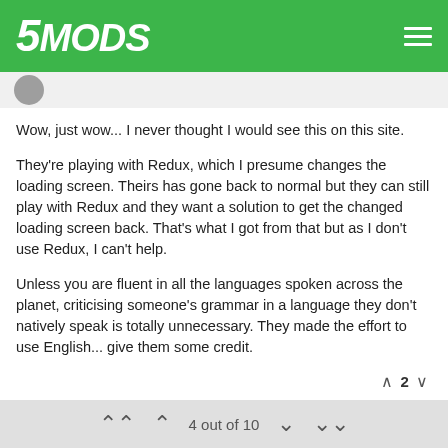5MODS
Wow, just wow... I never thought I would see this on this site.
They're playing with Redux, which I presume changes the loading screen. Theirs has gone back to normal but they can still play with Redux and they want a solution to get the changed loading screen back. That's what I got from that but as I don't use Redux, I can't help.
Unless you are fluent in all the languages spoken across the planet, criticising someone's grammar in a language they don't natively speak is totally unnecessary. They made the effort to use English... give them some credit.
∧ 2 ∨
Virus-T1000 6 years ago
When the loading screen comes on, look out of the window and imagine it's happening.
4 out of 10